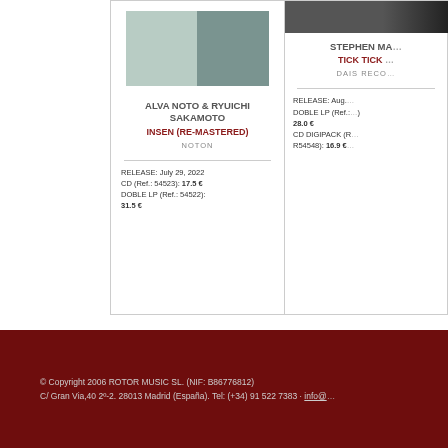[Figure (illustration): Album cover for Alva Noto & Ryuichi Sakamoto - Insen, two color blocks (light sage green and darker sage green)]
ALVA NOTO & RYUICHI SAKAMOTO
INSEN (RE-MASTERED)
NOTON
RELEASE: July 29, 2022
CD (Ref.: 54523): 17.5 €
DOBLE LP (Ref.: 54522): 31.5 €
[Figure (photo): Partial album cover photo for Stephen Ma... - Tick Tick... (cropped, only left portion visible)]
STEPHEN MA...
TICK TICK...
DAIS RECO...
RELEASE: Aug. ...
DOBLE LP (Ref.:...): 28.0 €
CD DIGIPACK (R... R54548): 16.9 €
© Copyright 2006 ROTOR MUSIC SL. (NIF: B86776812)
C/ Gran Via,40 2º-2. 28013 Madrid (España). Tel: (+34) 91 522 7383 · info@...